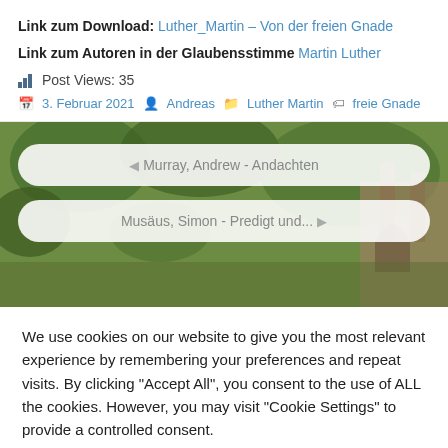Link zum Download: Luther_Martin – Von der freien Gnade
Link zum Autoren in der Glaubensstimme Martin Luther
Post Views: 35
3. Februar 2021  Andreas  Luther Martin  freie Gnade
[Figure (screenshot): Background image of trees and stone ruins with two navigation buttons: '◄ Murray, Andrew - Andachten' and 'Musäus, Simon - Predigt und... ►']
We use cookies on our website to give you the most relevant experience by remembering your preferences and repeat visits. By clicking "Accept All", you consent to the use of ALL the cookies. However, you may visit "Cookie Settings" to provide a controlled consent.
Cookie Settings    Accept All